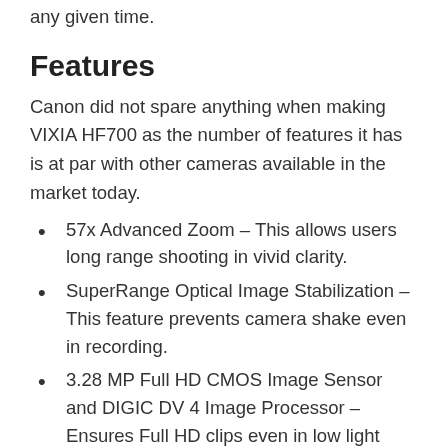any given time.
Features
Canon did not spare anything when making VIXIA HF700 as the number of features it has is at par with other cameras available in the market today.
57x Advanced Zoom – This allows users long range shooting in vivid clarity.
SuperRange Optical Image Stabilization – This feature prevents camera shake even in recording.
3.28 MP Full HD CMOS Image Sensor and DIGIC DV 4 Image Processor – Ensures Full HD clips even in low light conditions
SD Memory Card and SDXC cards Compatibility – This camera recorded